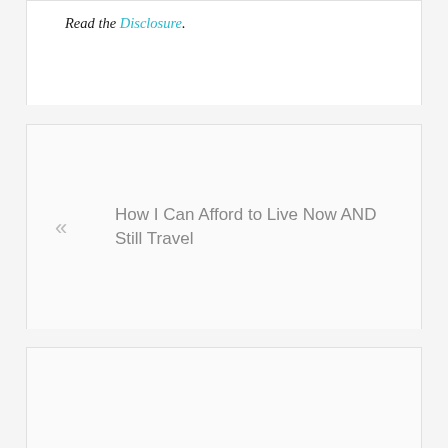Read the Disclosure.
« How I Can Afford to Live Now AND Still Travel
New York City: Eataly »
Comments